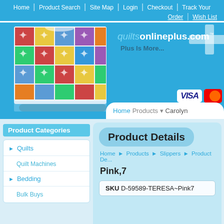Home | Product Search | Site Map | Login | Checkout | Track Your Order | Wish List
[Figure (screenshot): quilts online plus website header with quilt image, logo reading quiltsonlineplus.com, tagline Plus Is More..., VISA and MasterCard icons, and navigation breadcrumb]
Product Categories
► Quilts
Quilt Machines
► Bedding
Bulk Buys
Product Details
Home ► Products ► Slippers ► Product De...
Pink,7
SKU D-59589-TERESA~Pink7